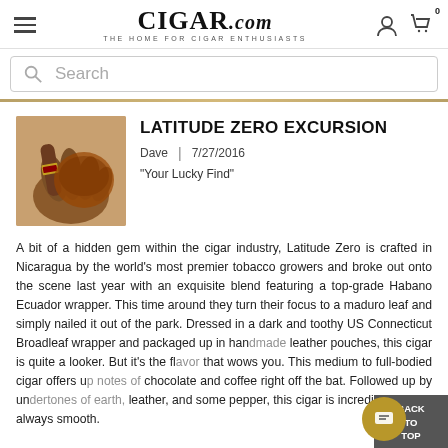CIGAR.com — THE HOME FOR CIGAR ENTHUSIASTS
LATITUDE ZERO EXCURSION
Dave | 7/27/2016
“Your Lucky Find”
[Figure (photo): A cigar held in a hand with a leather pouch in the background]
A bit of a hidden gem within the cigar industry, Latitude Zero is crafted in Nicaragua by the world’s most premier tobacco growers and broke out onto the scene last year with an exquisite blend featuring a top-grade Habano Ecuador wrapper. This time around they turn their focus to a maduro leaf and simply nailed it out of the park. Dressed in a dark and toothy US Connecticut Broadleaf wrapper and packaged up in handmade leather pouches, this cigar is quite a looker. But it’s the flavor that wows you. This medium to full-bodied cigar offers up notes of chocolate and coffee right off the bat. Followed up by undertones of earth, leather, and some pepper, this cigar is incredibly rich yet always smooth.